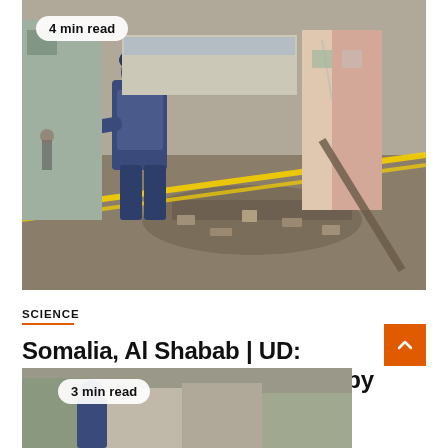[Figure (photo): A security officer in blue uniform and vest stretches yellow police tape across a street strewn with rubble and debris outside damaged buildings in Mogadishu following a bombing attack.]
4 min read
SCIENCE
Somalia, Al Shabab | UD: Norwegians may be affected by the attack in Mogadishu
August 22, 2022   Dalila Awolowo
[Figure (photo): Partial view of another photo showing damaged buildings and a person, similar scene to the top image. Badge shows 3 min read.]